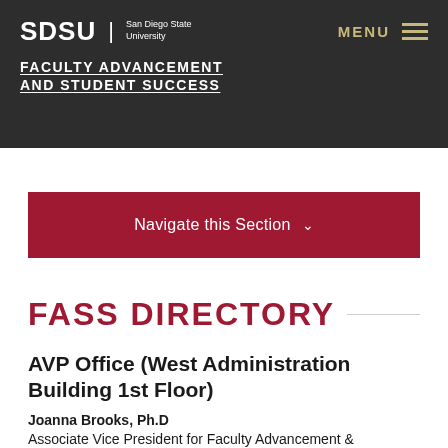SDSU | San Diego State University — FACULTY ADVANCEMENT AND STUDENT SUCCESS
Navigate this Section
FASS DIRECTORY
AVP Office (West Administration Building 1st Floor)
Joanna Brooks, Ph.D
Associate Vice President for Faculty Advancement &